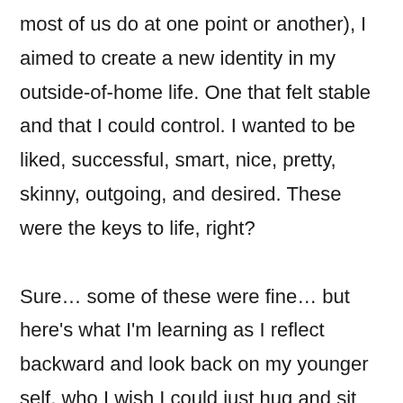most of us do at one point or another), I aimed to create a new identity in my outside-of-home life. One that felt stable and that I could control. I wanted to be liked, successful, smart, nice, pretty, skinny, outgoing, and desired. These were the keys to life, right?

Sure… some of these were fine… but here's what I'm learning as I reflect backward and look back on my younger self, who I wish I could just hug and sit down with and take to coffee and tell her everything was going to be okay and that she